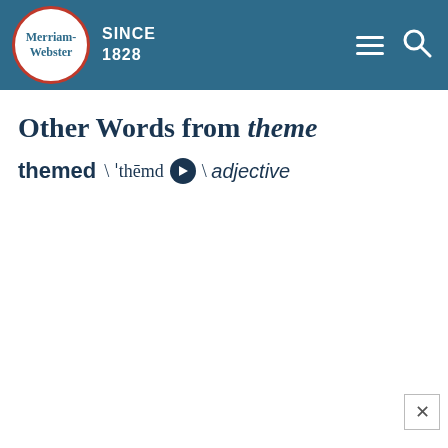Merriam-Webster SINCE 1828
Other Words from theme
themed \ 'thēmd \ adjective